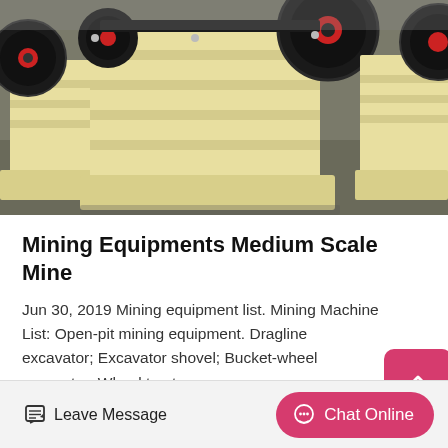[Figure (photo): Industrial jaw crusher machines in cream/yellow color with large black flywheels, photographed in a warehouse or factory floor setting.]
Mining Equipments Medium Scale Mine
Jun 30, 2019 Mining equipment list. Mining Machine List: Open-pit mining equipment. Dragline excavator; Excavator shovel; Bucket-wheel excavator; Wheel tractor scrapers
Leave Message  Chat Online